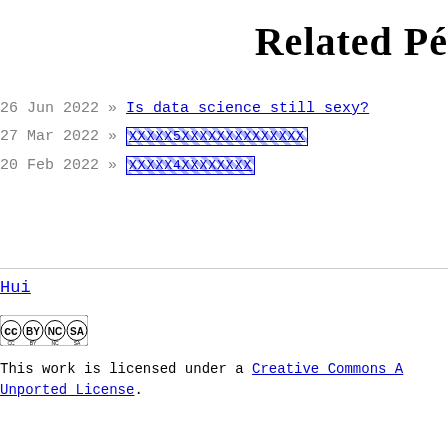Related Po
26 Jun 2022 » Is data science still sexy?
27 Mar 2022 » [encoded link]
20 Feb 2022 » [encoded link]
Hui
[Figure (logo): Creative Commons BY-NC-SA license badge]
This work is licensed under a Creative Commons A Unported License.